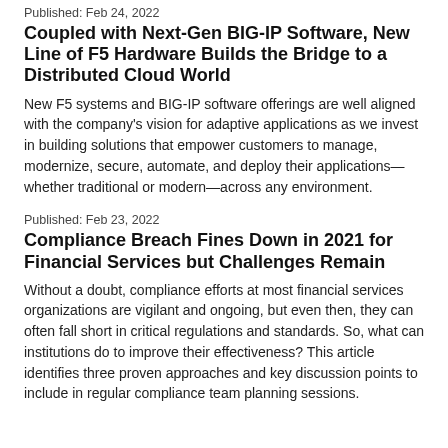Published: Feb 24, 2022
Coupled with Next-Gen BIG-IP Software, New Line of F5 Hardware Builds the Bridge to a Distributed Cloud World
New F5 systems and BIG-IP software offerings are well aligned with the company's vision for adaptive applications as we invest in building solutions that empower customers to manage, modernize, secure, automate, and deploy their applications—whether traditional or modern—across any environment.
Published: Feb 23, 2022
Compliance Breach Fines Down in 2021 for Financial Services but Challenges Remain
Without a doubt, compliance efforts at most financial services organizations are vigilant and ongoing, but even then, they can often fall short in critical regulations and standards. So, what can institutions do to improve their effectiveness? This article identifies three proven approaches and key discussion points to include in regular compliance team planning sessions.